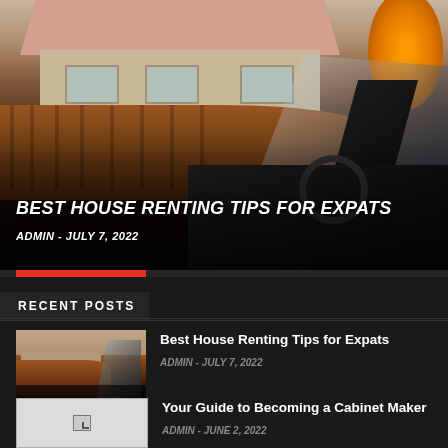[Figure (photo): Hero image of a house with wooden fence and a person driving a car, viewed from inside the vehicle. Orange tree visible at top right.]
BEST HOUSE RENTING TIPS FOR EXPATS
ADMIN - JULY 7, 2022
RECENT POSTS
[Figure (photo): Thumbnail of house with wooden fence and car]
Best House Renting Tips for Expats
ADMIN - JULY 7, 2022
[Figure (photo): Broken/missing image placeholder]
Your Guide to Becoming a Cabinet Maker
ADMIN - JUNE 2, 2022